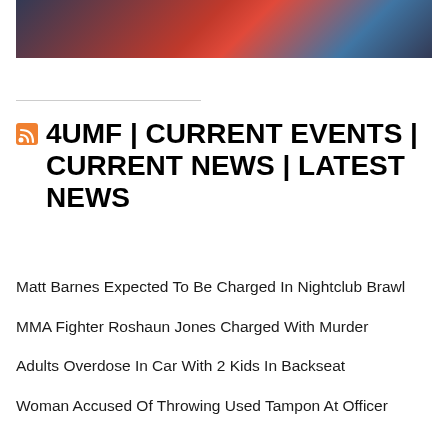[Figure (photo): Cropped photo showing what appears to be laboratory test tubes or boxing gloves, with red and blue colors visible]
4UMF | CURRENT EVENTS | CURRENT NEWS | LATEST NEWS
Matt Barnes Expected To Be Charged In Nightclub Brawl
MMA Fighter Roshaun Jones Charged With Murder
Adults Overdose In Car With 2 Kids In Backseat
Woman Accused Of Throwing Used Tampon At Officer